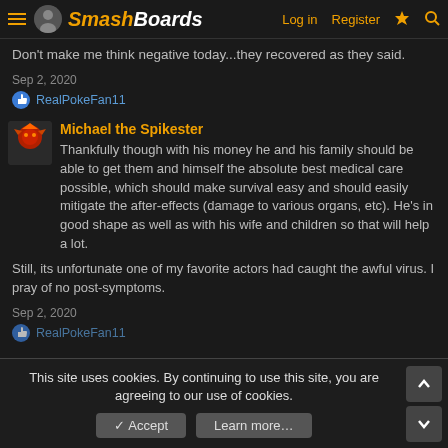SmashBoards — Log in  Register
Don't make me think negative today...they recovered as they said.
Sep 2, 2020
RealPokeFan11
Michael the Spikester
Thankfully though with his money he and his family should be able to get them and himself the absolute best medical care possible, which should make survival easy and should easily mitigate the after-effects (damage to various organs, etc). He's in good shape as well as with his wife and children so that will help a lot.
Still, its unfortunate one of my favorite actors had caught the awful virus. I pray of no post-symptoms.
Sep 2, 2020
RealPokeFan11
This site uses cookies. By continuing to use this site, you are agreeing to our use of cookies.